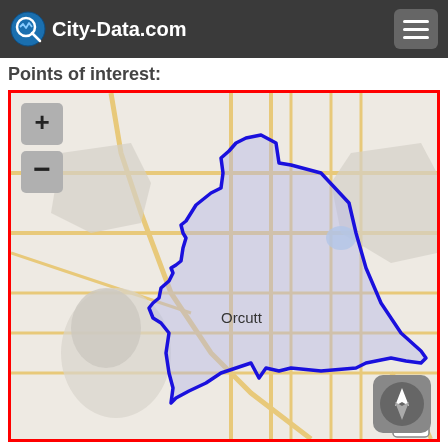City-Data.com
Points of interest:
[Figure (map): Street map showing the Orcutt, California area with a blue-outlined, light-purple shaded region indicating the Orcutt CDP boundary. Map includes road network in orange/tan on a light gray background. Zoom controls (+/-) visible in upper left. Compass/orientation button in lower right. Highway 101 marker visible in bottom right corner.]